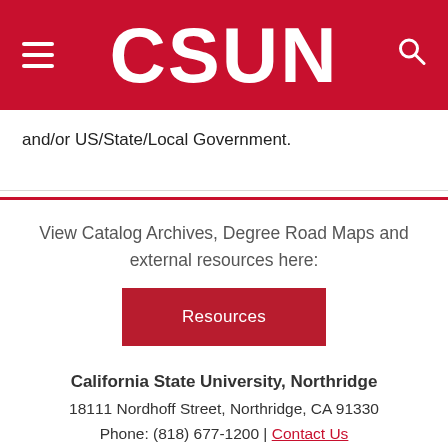CSUN
and/or US/State/Local Government.
View Catalog Archives, Degree Road Maps and external resources here:
Resources
California State University, Northridge
18111 Nordhoff Street, Northridge, CA 91330
Phone: (818) 677-1200 | Contact Us